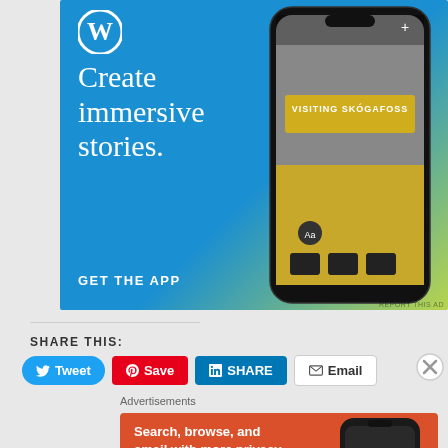[Figure (screenshot): WordPress app advertisement with blue gradient background. Shows WordPress logo (W in circle), large text 'Create immersive stories.' and 'GET THE APP' CTA. Right side shows a smartphone displaying a travel blog post titled 'VISITING SKÓGAFOSS' with a photo of a waterfall and person in yellow jacket.]
SHARE THIS:
[Figure (screenshot): Social share buttons: Tweet (blue, bird icon), Save (red, Pinterest icon), SHARE (LinkedIn blue), Email (white with envelope icon). Close X button on far right.]
Advertisements
[Figure (screenshot): DuckDuckGo advertisement on orange-red background. Text: 'Search, browse, and email with more privacy.' Button: 'All in One Free App'. Right side shows smartphone with DuckDuckGo logo and 'DuckDuckGo.' text.]